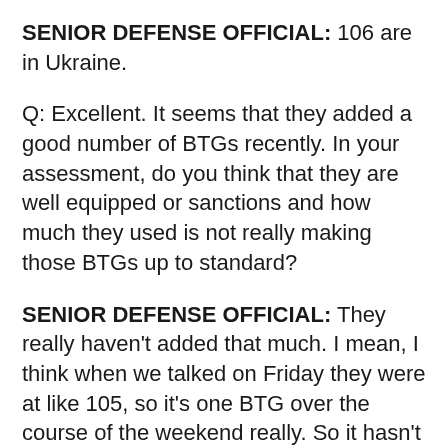SENIOR DEFENSE OFFICIAL: 106 are in Ukraine.
Q: Excellent. It seems that they added a good number of BTGs recently. In your assessment, do you think that they are well equipped or sanctions and how much they used is not really making those BTGs up to standard?
SENIOR DEFENSE OFFICIAL: They really haven't added that much. I mean, I think when we talked on Friday they were at like 105, so it's one BTG over the course of the weekend really. So it hasn't been a dramatic increase. They've been